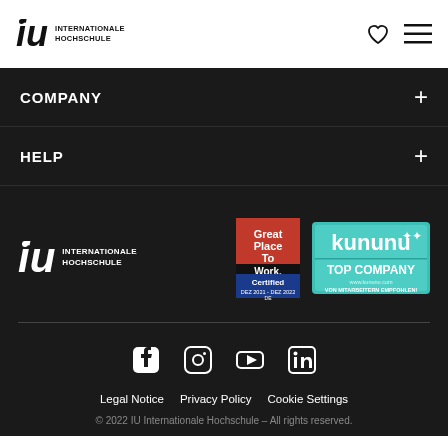IU INTERNATIONALE HOCHSCHULE
COMPANY
HELP
[Figure (logo): IU Internationale Hochschule logo in white, with Great Place To Work Certified badge and Kununu Top Company badge]
[Figure (logo): Social media icons: Facebook, Instagram, YouTube, LinkedIn]
Legal Notice   Privacy Policy   Cookie Settings
© 2022 IU Internationale Hochschule – All rights reserved.